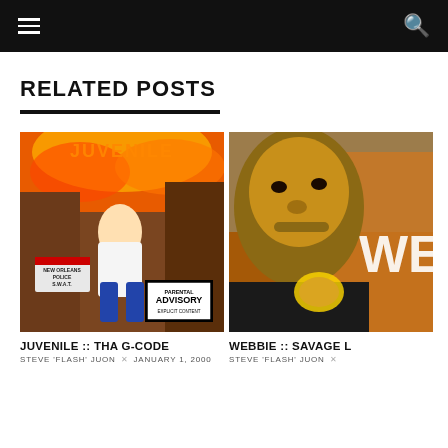Navigation bar with menu and search icons
RELATED POSTS
[Figure (photo): Album cover for Juvenile :: Tha G-Code, showing a young man in a white t-shirt sitting in front of a housing project with fire and the word JUVENILE in the background, with a New Orleans Police SWAT van and a Parental Advisory Explicit Content label]
JUVENILE :: THA G-CODE
STEVE 'FLASH' JUON × JANUARY 1, 2000
[Figure (photo): Album cover for Webbie :: Savage Life, showing a close-up of a young Black man with 'WE' letters visible in the background]
WEBBIE :: SAVAGE L
STEVE 'FLASH' JUON ×